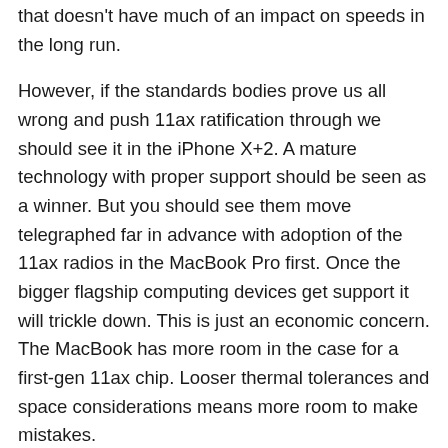that doesn't have much of an impact on speeds in the long run.
However, if the standards bodies prove us all wrong and push 11ax ratification through we should see it in the iPhone X+2. A mature technology with proper support should be seen as a winner. But you should see them move telegraphed far in advance with adoption of the 11ax radios in the MacBook Pro first. Once the bigger flagship computing devices get support it will trickle down. This is just an economic concern. The MacBook has more room in the case for a first-gen 11ax chip. Looser thermal tolerances and space considerations means more room to make mistakes.
In short: Don't expect an 11ax (or Wi-Fi 6) chip before 2020. And if you're betting the farm on the iPhone, you